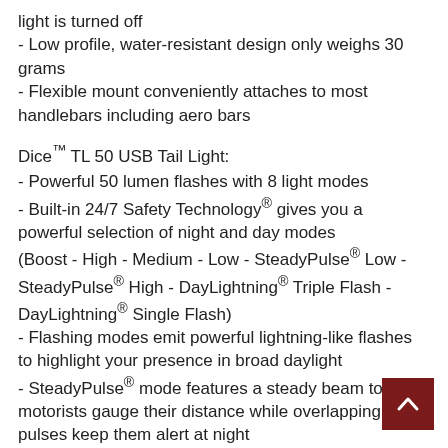light is turned off
- Low profile, water-resistant design only weighs 30 grams
- Flexible mount conveniently attaches to most handlebars including aero bars
Dice™ TL 50 USB Tail Light:
- Powerful 50 lumen flashes with 8 light modes
- Built-in 24/7 Safety Technology® gives you a powerful selection of night and day modes
(Boost - High - Medium - Low - SteadyPulse® Low - SteadyPulse® High - DayLightning® Triple Flash - DayLightning® Single Flash)
- Flashing modes emit powerful lightning-like flashes to highlight your presence in broad daylight
- SteadyPulse® mode features a steady beam to help motorists gauge their distance while overlapping pulses keep them alert at night
- Enhanced Cycling Optics™ (ECO) expands your visibility with an extra-wide and long-range beam
- USB rechargeable Li-ion battery